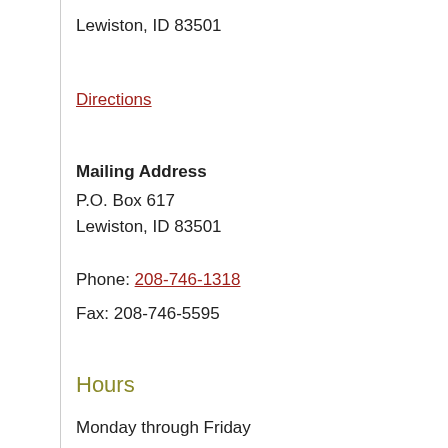Lewiston, ID 83501
Directions
Mailing Address
P.O. Box 617
Lewiston, ID 83501
Phone: 208-746-1318
Fax: 208-746-5595
Hours
Monday through Friday
8 am to 5 pm
Directory